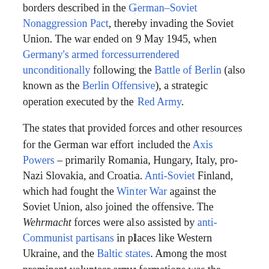borders described in the German–Soviet Nonaggression Pact, thereby invading the Soviet Union. The war ended on 9 May 1945, when Germany's armed forcessurrendered unconditionally following the Battle of Berlin (also known as the Berlin Offensive), a strategic operation executed by the Red Army.
The states that provided forces and other resources for the German war effort included the Axis Powers – primarily Romania, Hungary, Italy, pro-Nazi Slovakia, and Croatia. Anti-Soviet Finland, which had fought the Winter War against the Soviet Union, also joined the offensive. The Wehrmacht forces were also assisted by anti-Communist partisans in places like Western Ukraine, and the Baltic states. Among the most prominent volunteer army formations was the Spanish Blue Division, sent by Spanish dictator Francisco Franco to keep his ties to the Axis intact.[33]
The Soviet Union offered support to the anti-Axis partisans in many Wehrmacht-occupied countries in